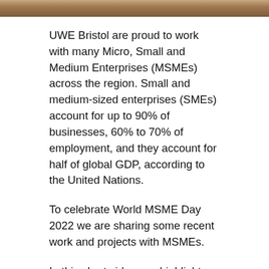[Figure (photo): A photograph strip at the top of the page, showing a partial image in warm brown/tan tones.]
UWE Bristol are proud to work with many Micro, Small and Medium Enterprises (MSMEs) across the region. Small and medium-sized enterprises (SMEs) account for up to 90% of businesses, 60% to 70% of employment, and they account for half of global GDP, according to the United Nations.
To celebrate World MSME Day 2022 we are sharing some recent work and projects with MSMEs.
In this short video, we highlight three SMEs we worked with as part of our Scale Up 4 Growth Scheme. In partnership with NatWest and Foot Anstey, we gave SMEs access to grant funding and business support to help them scale up. In the below video we hear from The Bristol Loaf, Wiper and True and 299 Lighting about how the funding has helped